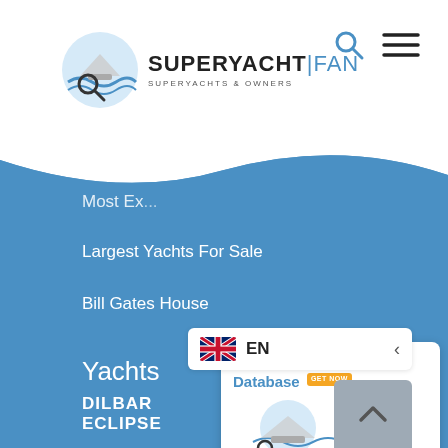[Figure (logo): SuperYachtFan logo — circular icon with magnifying glass over yacht silhouette on blue waves, next to text SUPERYACHT|FAN with tagline SUPERYACHTS & OWNERS]
[Figure (other): Search icon (magnifying glass) and hamburger menu icon in top right corner]
Most Ex...
Largest Yachts For Sale
Bill Gates House
[Figure (illustration): Yacht Owners Database promotional card with SuperYachtFan logo image, orange GET NOW badge]
[Figure (other): Grey scroll-to-top button with upward caret]
[Figure (other): Language selector showing UK flag and EN label with right arrow]
Yachts
DILBAR
ECLIPSE
NORD
SY A